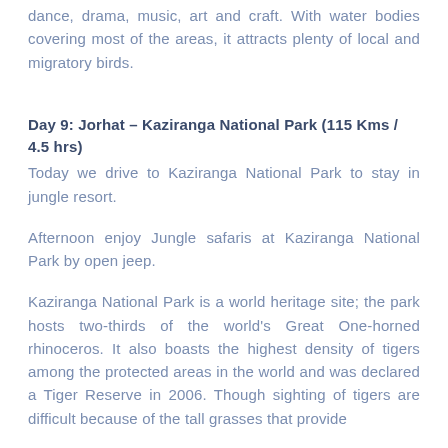dance, drama, music, art and craft. With water bodies covering most of the areas, it attracts plenty of local and migratory birds.
Day 9: Jorhat – Kaziranga National Park (115 Kms / 4.5 hrs)
Today we drive to Kaziranga National Park to stay in jungle resort.
Afternoon enjoy Jungle safaris at Kaziranga National Park by open jeep.
Kaziranga National Park is a world heritage site; the park hosts two-thirds of the world's Great One-horned rhinoceros. It also boasts the highest density of tigers among the protected areas in the world and was declared a Tiger Reserve in 2006. Though sighting of tigers are difficult because of the tall grasses that provide